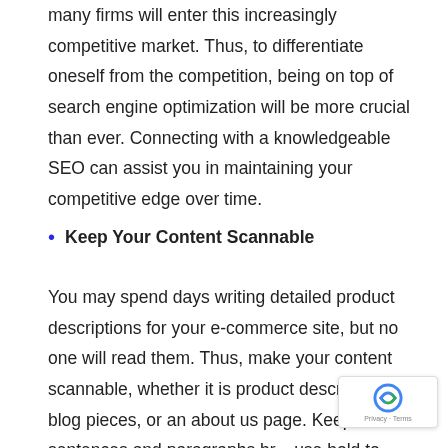many firms will enter this increasingly competitive market. Thus, to differentiate oneself from the competition, being on top of search engine optimization will be more crucial than ever. Connecting with a knowledgeable SEO can assist you in maintaining your competitive edge over time.
Keep Your Content Scannable
You may spend days writing detailed product descriptions for your e-commerce site, but no one will read them. Thus, make your content scannable, whether it is product descriptions, blog pieces, or an about us page. Keep sentences and paragraphs br... use bold to highlight important points, and use bu...